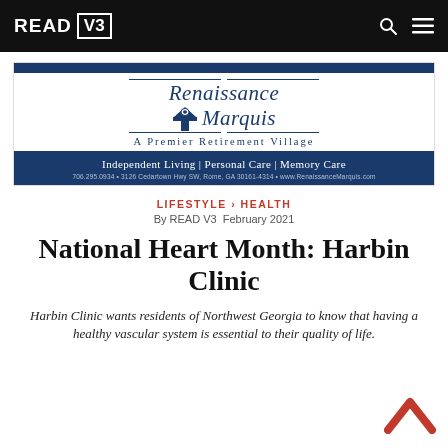READ V3
[Figure (logo): Renaissance Marquis – A Premier Retirement Village advertisement banner with navy blue bars, script logo, and service details: Independent Living | Personal Care | Memory Care. 706.295.0934 • 3126 Cedartown Hwy SW, Rome, GA 30161-4314 • www.RenaissanceMarquis.com]
LIFESTYLE › HEALTH
By READ V3  February 2021
National Heart Month: Harbin Clinic
Harbin Clinic wants residents of Northwest Georgia to know that having a healthy vascular system is essential to their quality of life.